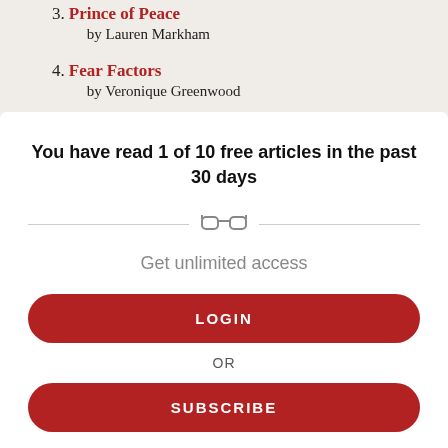3. Prince of Peace by Lauren Markham
4. Fear Factors by Veronique Greenwood
5. Omnipresence by Ann Neumann
You have read 1 of 10 free articles in the past 30 days
Get unlimited access
LOGIN
OR
SUBSCRIBE